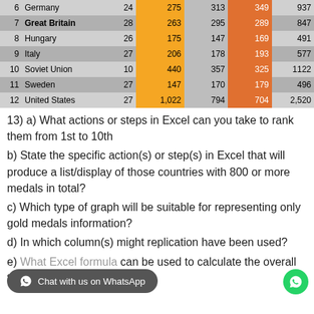| # | Country | Games | Gold | Silver | Bronze | Total |
| --- | --- | --- | --- | --- | --- | --- |
| 6 | Germany | 24 | 275 | 313 | 349 | 937 |
| 7 | Great Britain | 28 | 263 | 295 | 289 | 847 |
| 8 | Hungary | 26 | 175 | 147 | 169 | 491 |
| 9 | Italy | 27 | 206 | 178 | 193 | 577 |
| 10 | Soviet Union | 10 | 440 | 357 | 325 | 1122 |
| 11 | Sweden | 27 | 147 | 170 | 179 | 496 |
| 12 | United States | 27 | 1,022 | 794 | 704 | 2,520 |
13) a) What actions or steps in Excel can you take to rank them from 1st to 10th
b) State the specific action(s) or step(s) in Excel that will produce a list/display of those countries with 800 or more medals in total?
c) Which type of graph will be suitable for representing only gold medals information?
d) In which column(s) might replication have been used?
e) What Excel formula can be used to calculate the overall total medals awarded?